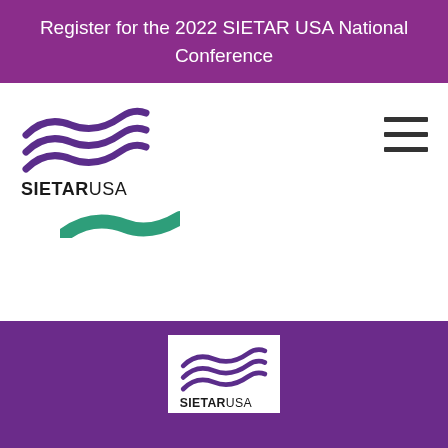Register for the 2022 SIETAR USA National Conference
[Figure (logo): SIETAR USA logo with purple swoosh/wave design above text SIETARUSA in black bold font]
[Figure (logo): Hamburger menu icon (three horizontal lines)]
[Figure (logo): Teal colored partial swoosh/wave shape peeking from behind nav area]
[Figure (logo): SIETAR USA logo in white box with purple swoosh design above SIETARUSA text, displayed in footer purple area]